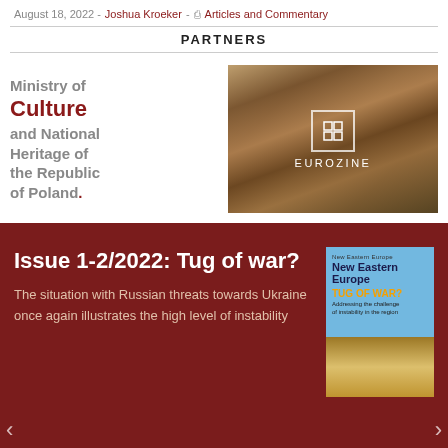August 18, 2022 - Joshua Kroeker - Articles and Commentary
PARTNERS
[Figure (logo): Ministry of Culture and National Heritage of the Republic of Poland logo]
[Figure (logo): Eurozine logo overlaid on books background image]
Issue 1-2/2022: Tug of war?
The situation with Russian threats towards Ukraine once again illustrates the high level of instability
[Figure (illustration): Magazine cover: New Eastern Europe - TUG OF WAR? Addressing the challenge of instability in the region]